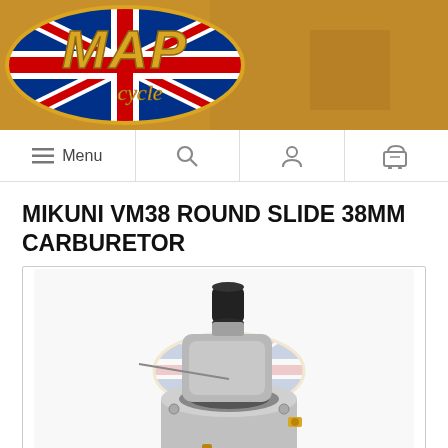[Figure (logo): MAP Cycle logo — oval shape with Union Jack background, gold stylized 'MAP' lettering and 'cycle' script beneath, on golden/amber banner header]
[Figure (screenshot): Navigation bar with hamburger Menu icon, search icon, user/account icon, and shopping cart icon]
MIKUNI VM38 ROUND SLIDE 38MM CARBURETOR
[Figure (photo): Mikuni VM38 round slide 38mm carburetor — silver/grey metal carburetor body with black rubber cap at top, gold/brass jets visible, pink/clear fuel line at bottom, MAP Cycle watermark overlay. White background.]